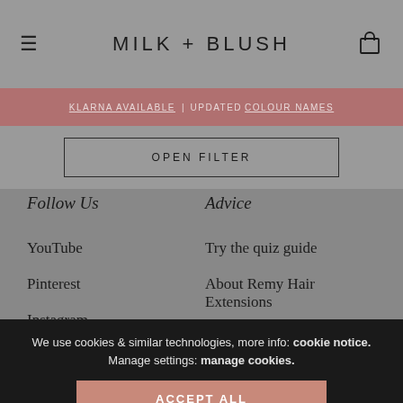MILK + BLUSH
KLARNA AVAILABLE | UPDATED COLOUR NAMES
OPEN FILTER
Follow Us
YouTube
Pinterest
Instagram
Facebook
Spotify
Advice
Try the quiz guide
About Remy Hair Extensions
Choose thickness
Choose colour
Choose length
Hair Tutorials
We use cookies & similar technologies, more info: cookie notice. Manage settings: manage cookies.
ACCEPT ALL